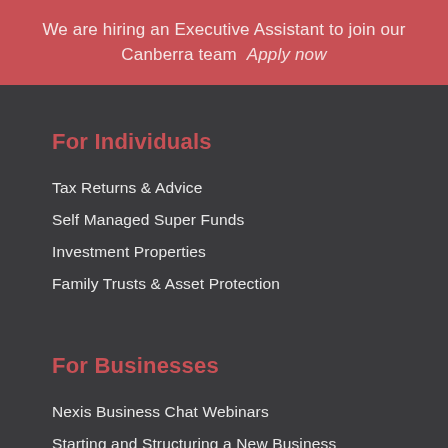We are hiring an Executive Assistant to join our Canberra team  Apply now
For Individuals
Tax Returns & Advice
Self Managed Super Funds
Investment Properties
Family Trusts & Asset Protection
For Businesses
Nexis Business Chat Webinars
Starting and Structuring a New Business
Buying an Existing Business
Business Planning & Mentoring
Human Resources